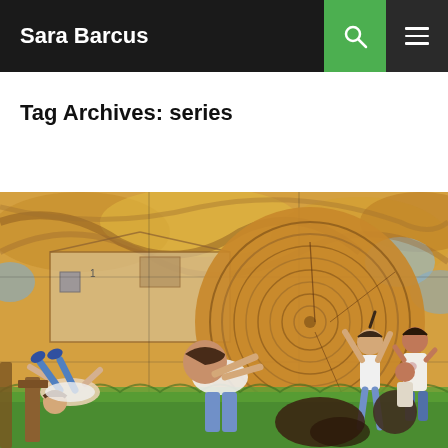Sara Barcus
Tag Archives: series
[Figure (illustration): Colorful illustrated artwork showing children playing around a large tree stump cross-section with swirling wood grain rings. Background features Van Gogh-style swirling sky in warm yellows and browns with blue clouds. Children in various poses including one fallen on the left, one bending over the stump, one girl reaching up, and two children on the right side. Grass is visible at the bottom. Architectural elements including what appears to be a barn or building structure in the background.]